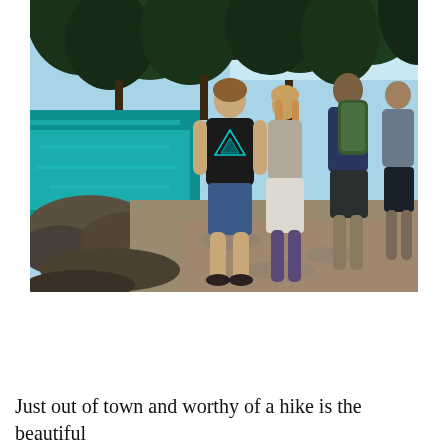[Figure (photo): Group of people walking along a rocky coastal path. The main figure in the foreground wears a black t-shirt with a triangular logo design and blue shorts, viewed from behind. Other walkers are visible ahead, one with a green backpack. Dense dark green trees are visible at the top, and turquoise-blue sea water is visible to the left. The path is made of rocky/cobblestone terrain.]
Privacy & Cookies: This site uses cookies. By continuing to use this website, you agree to their use.
To find out more, including how to control cookies, see here: Cookie Policy
Close and accept
Just out of town and worthy of a hike is the beautiful